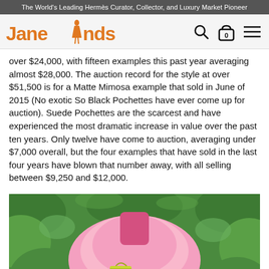The World's Leading Hermès Curator, Collector, and Luxury Market Pioneer
[Figure (logo): JaneFinds logo with orange stylized text and female figure silhouette, with search, cart (0), and hamburger menu icons on the right]
over $24,000, with fifteen examples this past year averaging almost $28,000. The auction record for the style at over $51,500 is for a Matte Mimosa example that sold in June of 2015 (No exotic So Black Pochettes have ever come up for auction). Suede Pochettes are the scarcest and have experienced the most dramatic increase in value over the past ten years. Only twelve have come to auction, averaging under $7,000 overall, but the four examples that have sold in the last four years have blown that number away, with all selling between $9,250 and $12,000.
[Figure (photo): Woman wearing a voluminous pink tulle skirt holding a small yellow/green Hermès bag, standing in front of green leafy background]